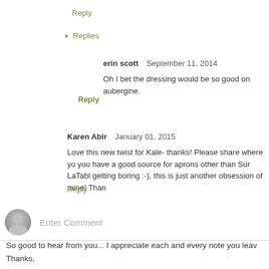Reply
▾ Replies
erin scott   September 11, 2014
Oh I bet the dressing would be so good on aubergine.
Reply
Karen Abir  January 01, 2015
Love this new twist for Kale- thanks! Please share where yo you have a good source for aprons other than Sur LaTabl getting boring :-), this is just another obsession of mine! Than
Reply
Enter Comment
So good to hear from you... I appreciate each and every note you leav
Thanks,